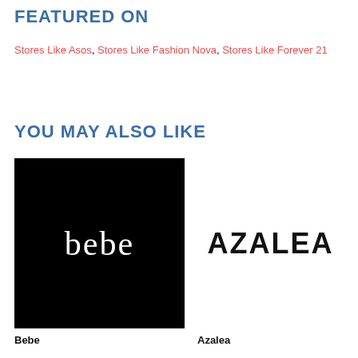FEATURED ON
Stores Like Asos, Stores Like Fashion Nova, Stores Like Forever 21
YOU MAY ALSO LIKE
[Figure (logo): Bebe logo: white text 'bebe' on black background]
[Figure (logo): Azalea logo: bold black uppercase text 'AZALEA' on white background]
Bebe
Azalea